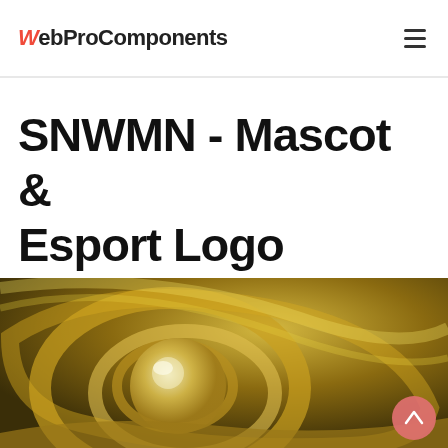WebProComponents
SNWMN - Mascot & Esport Logo
[Figure (photo): Close-up photograph of a shiny golden swirling metallic abstract background with circular reflective elements, warm gold tones.]